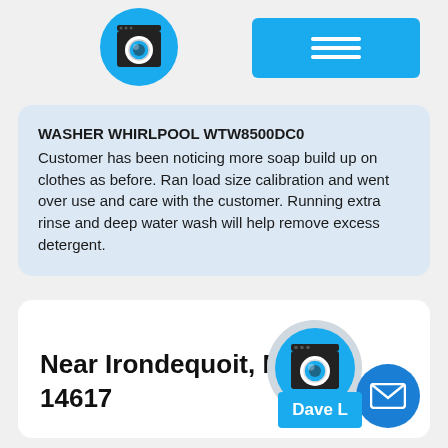[Figure (logo): Blue circle with washing machine icon (top-left header logo)]
[Figure (other): Blue rectangle button with hamburger menu icon (three horizontal lines)]
WASHER WHIRLPOOL WTW8500DC0
Customer has been noticing more soap build up on clothes as before. Ran load size calibration and went over use and care with the customer. Running extra rinse and deep water wash will help remove excess detergent.
Near Irondequoit, NY 14617
[Figure (logo): Blue circle with washing machine icon (bottom card)]
[Figure (other): Blue circle button with mail/envelope icon]
Dave L